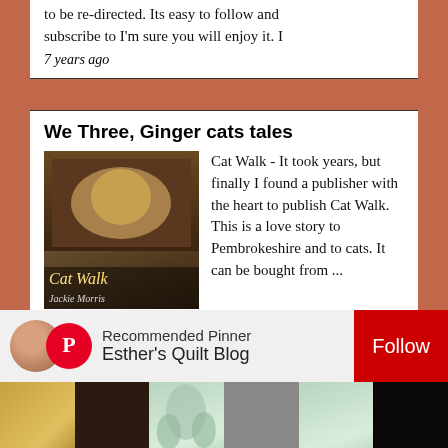to be re-directed. Its easy to follow and subscribe to I'm sure you will enjoy it. I
7 years ago
We Three, Ginger cats tales
[Figure (photo): Book cover of 'Cat Walk' by Jackie Morris showing a cat illustration]
Cat Walk - It took years, but finally I found a publisher with the heart to publish Cat Walk. This is a love story to Pembrokeshire and to cats. It can be bought from ...
7 years ago
Coté Passions
C'est dimanche...découverte - En me baladant au salon Créations et savoir Faire la semaine dernière, j'ai été étonnée par le nombre de jeune-femmes, très jeunes même qui parcouraient le
7 years ago
Am...
Dia... as th... hom... typ...
[Figure (screenshot): Pinterest 'Recommended Pinner' overlay popup showing Esther's Quilt Blog with Follow button and thumbnail images]